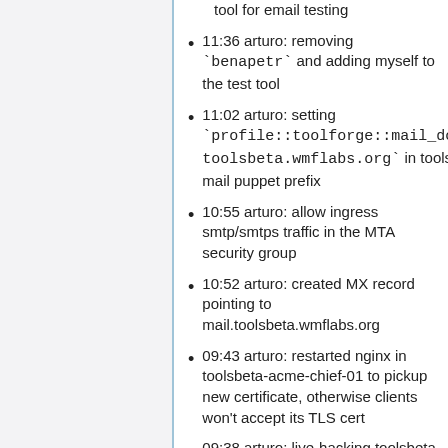tool for email testing
11:36 arturo: removing `benapetr` and adding myself to the test tool
11:02 arturo: setting `profile::toolforge::mail_domain: toolsbeta.wmflabs.org` in toolsbeta-mail puppet prefix
10:55 arturo: allow ingress smtp/smtps traffic in the MTA security group
10:52 arturo: created MX record pointing to mail.toolsbeta.wmflabs.org
09:43 arturo: restarted nginx in toolsbeta-acme-chief-01 to pickup new certificate, otherwise clients won't accept its TLS cert
09:38 arturo: live-hacking toolsbeta-puppetmaster-04 with https://gerrit.wikimedia.org/r/#/c/oper...